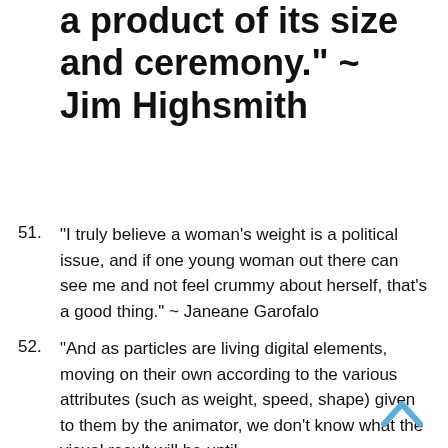a product of its size and ceremony." ~ Jim Highsmith
"I truly believe a woman’s weight is a political issue, and if one young woman out there can see me and not feel crummy about herself, that’s a good thing." ~ Janeane Garofalo
“And as particles are living digital elements, moving on their own according to the various attributes (such as weight, speed, shape) given to them by the animator, we don’t know what the visual result will be until